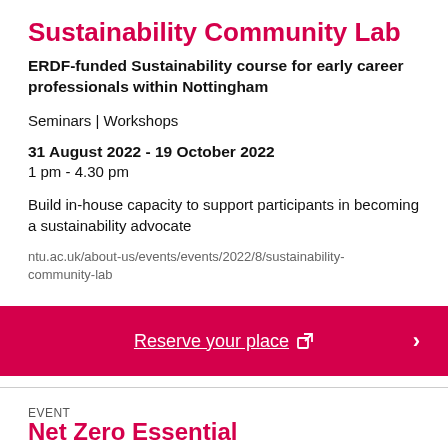Sustainability Community Lab
ERDF-funded Sustainability course for early career professionals within Nottingham
Seminars | Workshops
31 August 2022 - 19 October 2022
1 pm - 4.30 pm
Build in-house capacity to support participants in becoming a sustainability advocate
ntu.ac.uk/about-us/events/events/2022/8/sustainability-community-lab
Reserve your place  ↗  >
EVENT
Net Zero Essentials